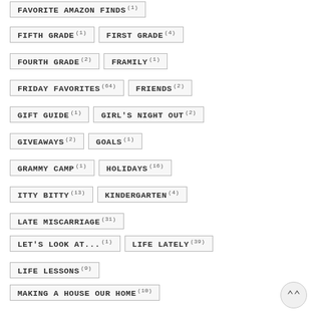FAVORITE AMAZON FINDS (1)
FIFTH GRADE (1)
FIRST GRADE (4)
FOURTH GRADE (2)
FRAMILY (1)
FRIDAY FAVORITES (64)
FRIENDS (2)
GIFT GUIDE (1)
GIRL'S NIGHT OUT (2)
GIVEAWAYS (2)
GOALS (1)
GRAMMY CAMP (1)
HOLIDAYS (16)
ITTY BITTY (13)
KINDERGARTEN (4)
LATE MISCARRIAGE (31)
LET'S LOOK AT... (1)
LIFE LATELY (39)
LIFE LESSONS (9)
MAKING A HOUSE OUR HOME (10)
MARRIAGE (15)
MILLIE JO (64)
MOTHERHOOD (5)